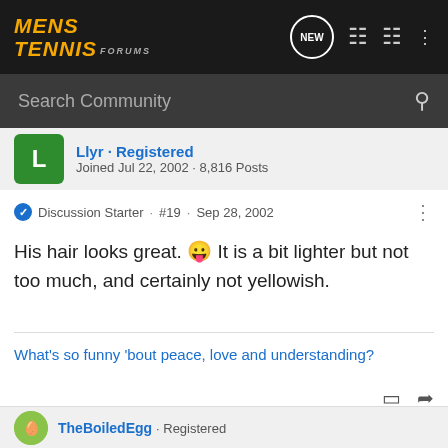[Figure (screenshot): Mens Tennis Forums navigation bar with logo, NEW bubble, list icon, user icon, and three-dot menu on dark background]
Search Community
Joined Jul 22, 2002 · 8,816 Posts
Discussion Starter · #19 · Sep 28, 2002
His hair looks great. 😛 It is a bit lighter but not too much, and certainly not yellowish.
What's so funny 'bout peace, love and understanding?
TheBoiledEgg · Registered